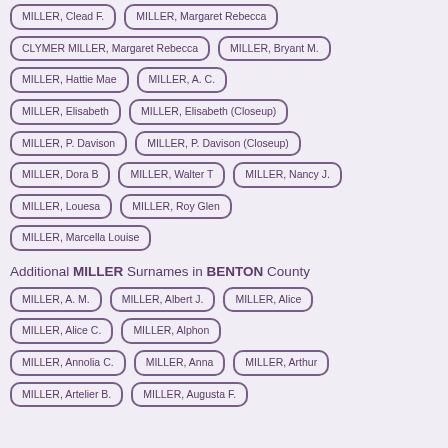MILLER, Clead F.
MILLER, Margaret Rebecca
CLYMER MILLER, Margaret Rebecca
MILLER, Bryant M.
MILLER, Hattie Mae
MILLER, A. C.
MILLER, Elisabeth
MILLER, Elisabeth (Closeup)
MILLER, P. Davison
MILLER, P. Davison (Closeup)
MILLER, Dora B
MILLER, Walter T
MILLER, Nancy J.
MILLER, Louesa
MILLER, Roy Glen
MILLER, Marcella Louise
Additional MILLER Surnames in BENTON County
MILLER, A. M.
MILLER, Albert J.
MILLER, Alice
MILLER, Alice C.
MILLER, Alphon
MILLER, Annolia C.
MILLER, Anna
MILLER, Arthur
MILLER, Artelier B.
MILLER, Augusta F.